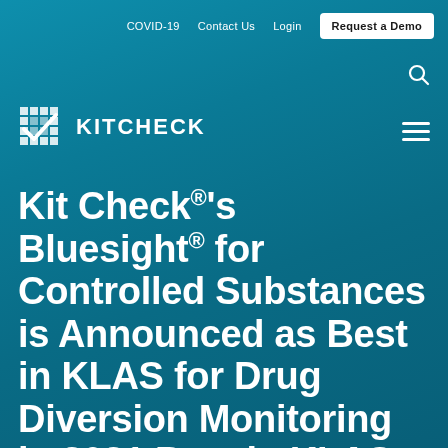COVID-19   Contact Us   Login   Request a Demo
[Figure (logo): Kitcheck logo: grid/check icon followed by KITCHECK text in white on teal background]
Kit Check®'s Bluesight® for Controlled Substances is Announced as Best in KLAS for Drug Diversion Monitoring in 2021 Best in KLAS